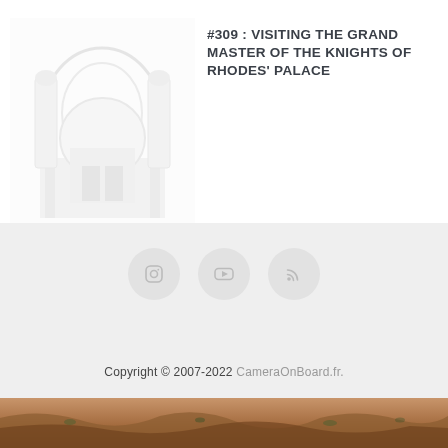[Figure (photo): Faded/washed-out photo of the Grand Master of the Knights of Rhodes' Palace showing arched architectural details]
#309 : VISITING THE GRAND MASTER OF THE KNIGHTS OF RHODES' PALACE
[Figure (other): LOAD MORE button with refresh icon]
[Figure (other): Social media icons: Instagram, YouTube, RSS feed in circular buttons on gray footer]
Copyright © 2007-2022 CameraOnBoard.fr.
[Figure (photo): Desert landscape with reddish sandy terrain and sparse vegetation at bottom of page]